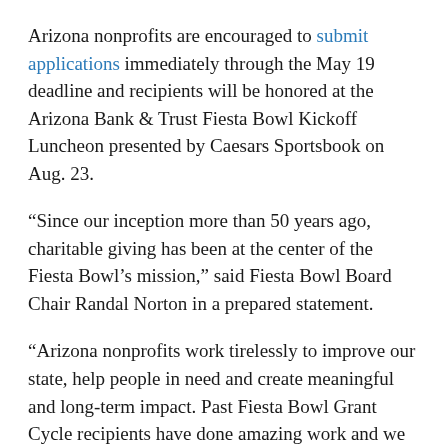Arizona nonprofits are encouraged to submit applications immediately through the May 19 deadline and recipients will be honored at the Arizona Bank & Trust Fiesta Bowl Kickoff Luncheon presented by Caesars Sportsbook on Aug. 23.
“Since our inception more than 50 years ago, charitable giving has been at the center of the Fiesta Bowl’s mission,” said Fiesta Bowl Board Chair Randal Norton in a prepared statement.
“Arizona nonprofits work tirelessly to improve our state, help people in need and create meaningful and long-term impact. Past Fiesta Bowl Grant Cycle recipients have done amazing work and we are happy to help their impact grow further.”
Fiesta Bowl Charities offers funding in three levels: